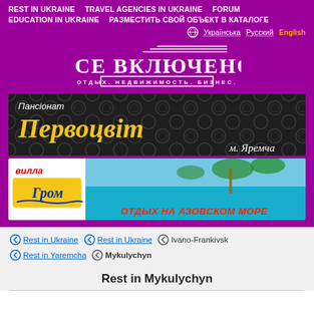REST IN UKRAINE   TRAVEL AGENCIES IN UKRAINE   FORUM   EDUCATION IN UKRAINE   РАЗМЕСТИТЬ СВОЙ ОБЪЕКТ В КАТАЛОГЕ
Українська   Русский   English
[Figure (logo): Logo: ВСЕ ВКЛЮЧЕНО - ОТДЫХ. НЕДВИЖИМОСТЬ. БИЗНЕС.]
[Figure (photo): Banner: Пансіонат Первоцвіт м. Яремча - dark ornamental background with golden Ukrainian text]
[Figure (photo): Banner: Вілла Гром - ОТДЫХ НА АЗОВСКОМ МОРЕ - beach/sea photo with logo]
Rest in Ukraine
Rest in Ukraine
Ivano-Frankivsk
Rest in Yaremcha
Mykulychyn
Rest in Mykulychyn